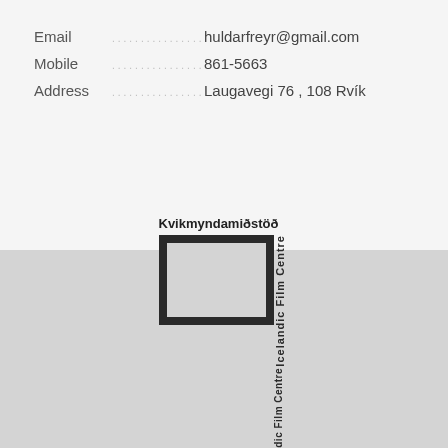Email  ............................................  huldarfreyr@gmail.com
Mobile  ............................................  861-5663
Address  ............................................  Laugavegi 76 , 108 Rvík
[Figure (logo): Kvikmyndamiðstöð Íslands Icelandic Film Centre logo with a film frame graphic and bold italic text ÍSLANDS]